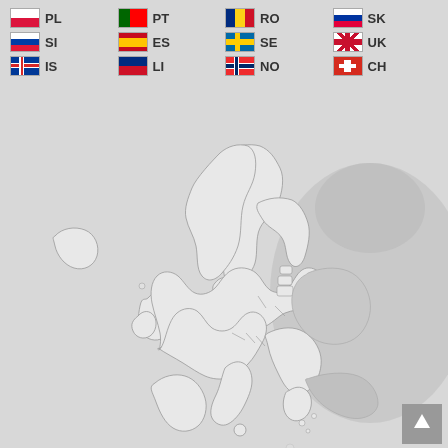[Figure (infographic): Legend showing country flags and codes for European countries: PL, PT, RO, SK, SI, ES, SE, UK, IS, LI, NO, CH]
[Figure (map): Political map of Europe showing country outlines in white/light grey on a grey background, with non-EEA countries in darker grey. Includes Iceland to the west and extends east to show Russia/non-member states.]